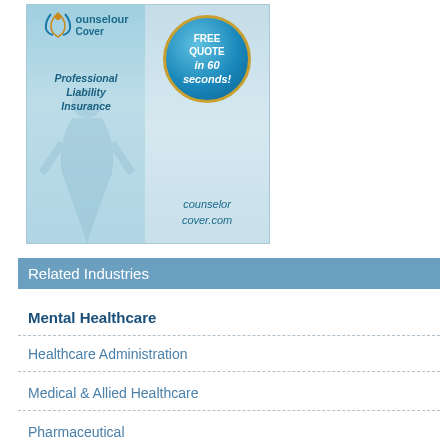[Figure (illustration): Counselor Cover advertisement banner showing logo with stylized figure, 'FREE QUOTE in 60 seconds!' button, 'Professional Liability Insurance' text, and 'counselorcover.com' website URL]
Related Industries
Mental Healthcare
Healthcare Administration
Medical & Allied Healthcare
Pharmaceutical